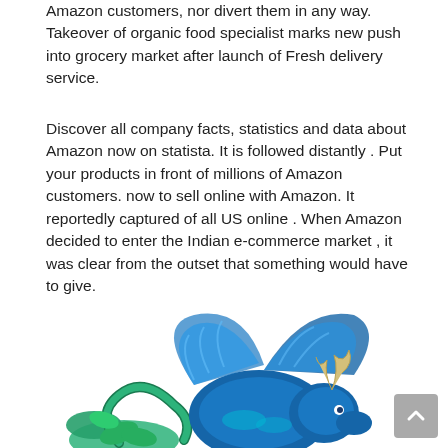Amazon customers, nor divert them in any way. Takeover of organic food specialist marks new push into grocery market after launch of Fresh delivery service.
Discover all company facts, statistics and data about Amazon now on statista. It is followed distantly . Put your products in front of millions of Amazon customers. now to sell online with Amazon. It reportedly captured of all US online . When Amazon decided to enter the Indian e-commerce market , it was clear from the outset that something would have to give.
[Figure (illustration): A colorful fantasy dragon illustration with blue and teal wings, green plant elements, and cream/gold horns, partially cropped at the bottom of the page.]